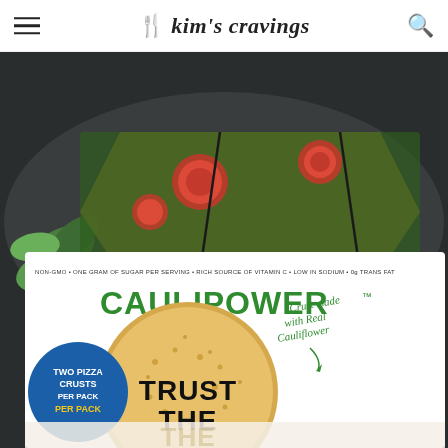Kim's Cravings
[Figure (photo): Food blog screenshot showing Kim's Cravings website header with hamburger menu and search icon, and a large photograph of a CAULIPOWER pizza crust box with a baked cauliflower pizza in the background. The box reads CAULIPOWER, TWO PIZZA CRUSTS PER PACK, TRUST THE, Crust made with Real Cauliflower, NON-GMO, ONE GRAM OF SUGAR PER SERVING, RICH SOURCE OF VITAMIN C, LOW IN SODIUM, 0g TRANS FAT.]